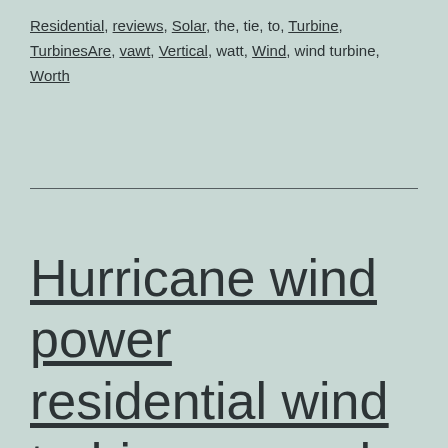Residential, reviews, Solar, the, tie, to, Turbine, TurbinesAre, vawt, Vertical, watt, Wind, wind turbine, Worth
Hurricane wind power residential wind turbines award winning off grid residential wind